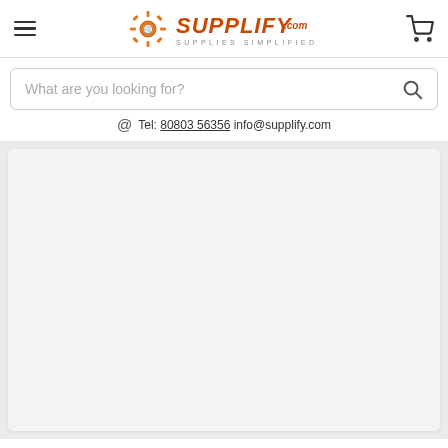[Figure (logo): Supplify.com logo with gear and shopping cart icon, tagline SUPPLIES SIMPLIFIED]
What are you looking for?
Tel: 80803 56356 info@supplify.com
[Figure (screenshot): Gray background content area with white/light card]